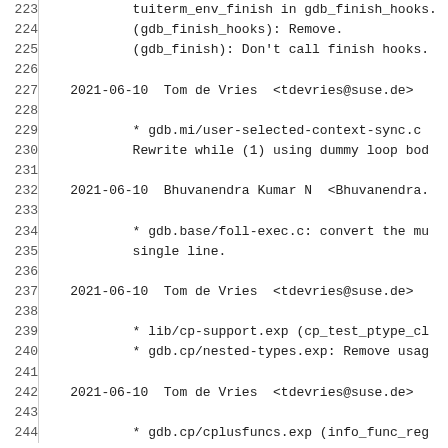223	tuiterm_env_finish in gdb_finish_hooks.
224	(gdb_finish_hooks): Remove.
225	(gdb_finish): Don't call finish hooks.
226	
227	2021-06-10  Tom de Vries  <tdevries@suse.de>
228	
229	* gdb.mi/user-selected-context-sync.c
230	Rewrite while (1) using dummy loop bod
231	
232	2021-06-10  Bhuvanendra Kumar N  <Bhuvanendra.
233	
234	* gdb.base/foll-exec.c: convert the mu
235	single line.
236	
237	2021-06-10  Tom de Vries  <tdevries@suse.de>
238	
239	* lib/cp-support.exp (cp_test_ptype_cl
240	* gdb.cp/nested-types.exp: Remove usag
241	
242	2021-06-10  Tom de Vries  <tdevries@suse.de>
243	
244	* gdb.cp/cplusfuncs.exp (info_func_reg